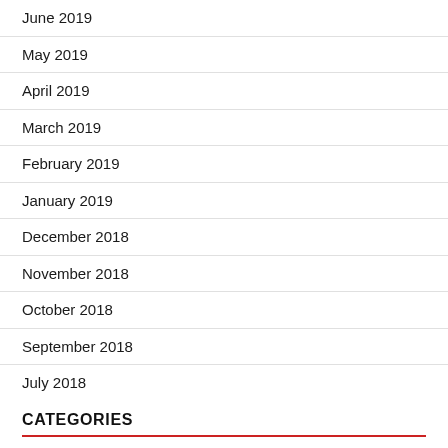June 2019
May 2019
April 2019
March 2019
February 2019
January 2019
December 2018
November 2018
October 2018
September 2018
July 2018
CATEGORIES